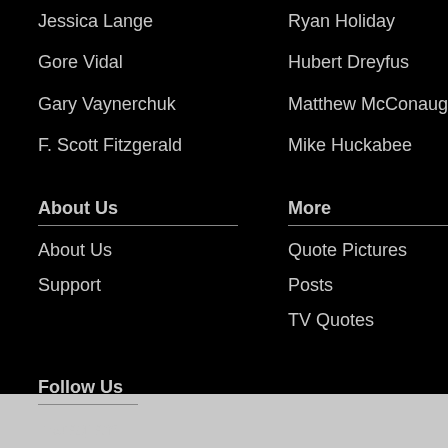Jessica Lange
Ryan Holiday
Gore Vidal
Hubert Dreyfus
Gary Vaynerchuk
Matthew McConaughey
F. Scott Fitzgerald
Mike Huckabee
About Us
More
About Us
Quote Pictures
Support
Posts
TV Quotes
Follow Us
Instagram
Facebook
Twitter